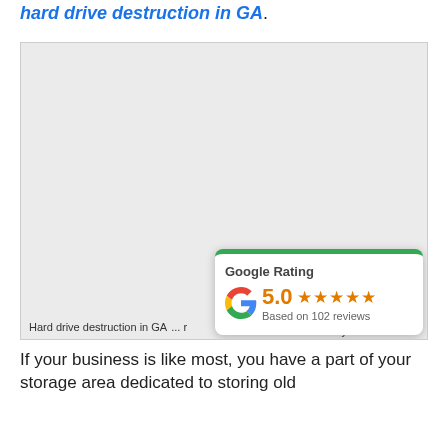hard drive destruction in GA.
[Figure (photo): Image of hard drive destruction in GA with Google Rating overlay card showing 5.0 stars based on 102 reviews]
Hard drive destruction in GA
If your business is like most, you have a part of your storage area dedicated to storing old